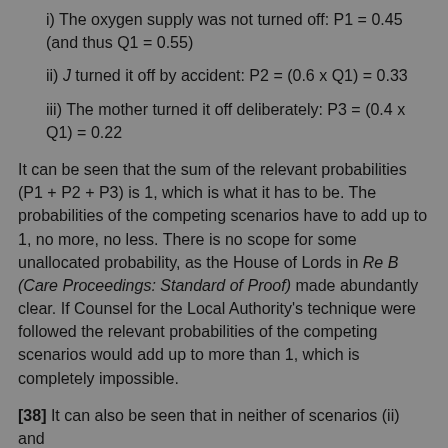i) The oxygen supply was not turned off: P1 = 0.45 (and thus Q1 = 0.55)
ii) J turned it off by accident: P2 = (0.6 x Q1) = 0.33
iii) The mother turned it off deliberately: P3 = (0.4 x Q1) = 0.22
It can be seen that the sum of the relevant probabilities (P1 + P2 + P3) is 1, which is what it has to be. The probabilities of the competing scenarios have to add up to 1, no more, no less. There is no scope for some unallocated probability, as the House of Lords in Re B (Care Proceedings: Standard of Proof) made abundantly clear. If Counsel for the Local Authority's technique were followed the relevant probabilities of the competing scenarios would add up to more than 1, which is completely impossible.
[38] It can also be seen that in neither of scenarios (ii) and